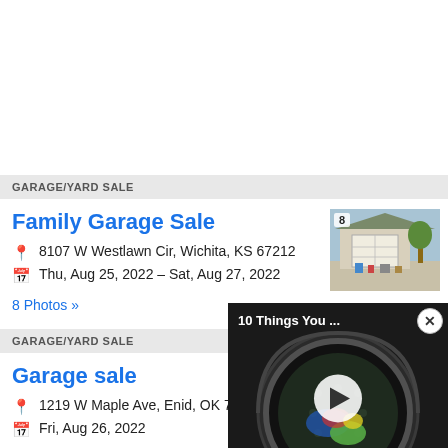GARAGE/YARD SALE
Family Garage Sale
8107 W Westlawn Cir, Wichita, KS 67212
Thu, Aug 25, 2022 – Sat, Aug 27, 2022
8 Photos »
[Figure (photo): Exterior photo of garage sale with items displayed, badge showing '8']
GARAGE/YARD SALE
Garage sale
1219 W Maple Ave, Enid, OK 7…
Fri, Aug 26, 2022
1 Photos »
[Figure (screenshot): Video overlay showing washing machine drum with title '10 Things You ...' and play button, bobvita logo in corner]